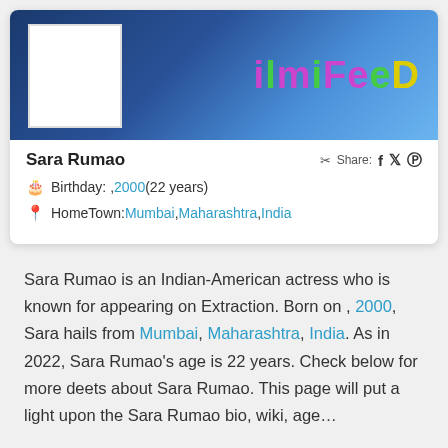[Figure (screenshot): FilmiFeed website banner with colorful logo text on blue background and white avatar box]
Sara Rumao
Birthday: , 2000 (22 years)
HomeTown: Mumbai, Maharashtra, India
Sara Rumao is an Indian-American actress who is known for appearing on Extraction. Born on , 2000, Sara hails from Mumbai, Maharashtra, India. As in 2022, Sara Rumao's age is 22 years. Check below for more deets about Sara Rumao. This page will put a light upon the Sara Rumao bio, wiki, age…